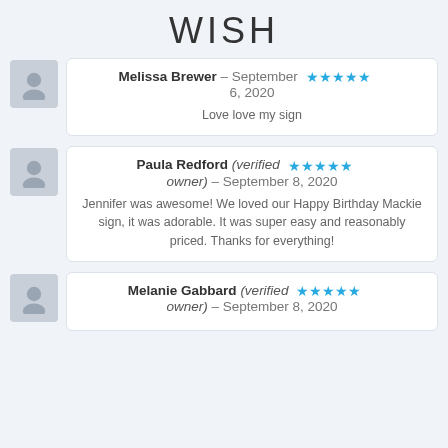WISH
Melissa Brewer – September 6, 2020 ★★★★★
Love love my sign
Paula Redford (verified owner) – September 8, 2020 ★★★★★
Jennifer was awesome! We loved our Happy Birthday Mackie sign, it was adorable. It was super easy and reasonably priced. Thanks for everything!
Melanie Gabbard (verified owner) – September 8, 2020 ★★★★★